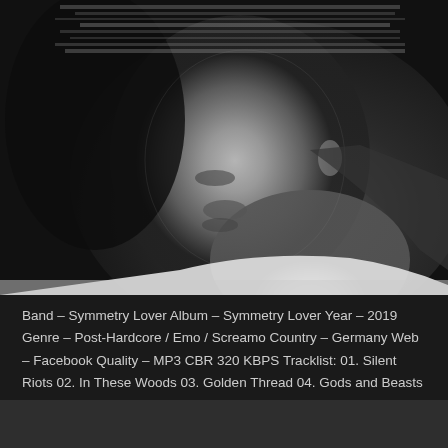[Figure (photo): Black and white distorted/glitched portrait photo of a person's face and neck, shot from the side, with a ghosting/double-exposure effect on the head area. Dark background, person wearing white top.]
Band – Symmetry Lover Album – Symmetry Lover Year – 2019 Genre – Post-Hardcore / Emo / Screamo Country – Germany Web – Facebook Quality – MP3 CBR 320 KBPS Tracklist: 01. Silent Riots 02. In These Woods 03. Golden Thread 04. Gods and Beasts 05. Consequences 06. Void 07. Architect 08. Tired Future